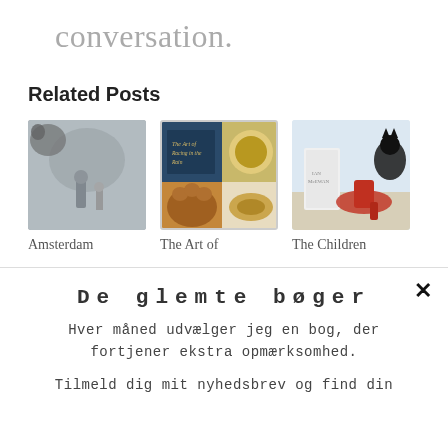conversation.
Related Posts
[Figure (photo): Black and white photo of a person in a foggy scene with a cat, labeled Amsterdam]
Amsterdam
[Figure (photo): Book cover 'The Art of Racing in the Rain' with a cup of tea and a croissant, labeled The Art of]
The Art of
[Figure (photo): White book standing next to a red high heel shoe and a black cat in background, labeled The Children]
The Children
×
De glemte bøger
Hver måned udvælger jeg en bog, der fortjener ekstra opmærksomhed.
Tilmeld dig mit nyhedsbrev og find din